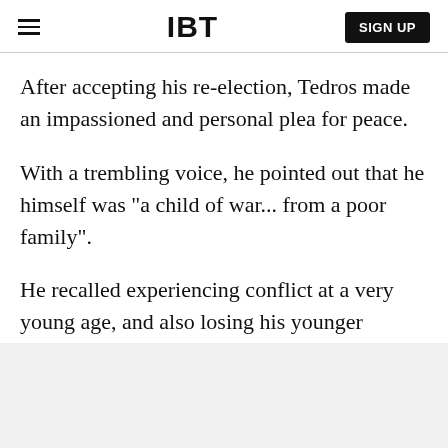IBT | SIGN UP
After accepting his re-election, Tedros made an impassioned and personal plea for peace.
With a trembling voice, he pointed out that he himself was "a child of war... from a poor family".
He recalled experiencing conflict at a very young age, and also losing his younger brother to disease due to a lack of access to medicine.